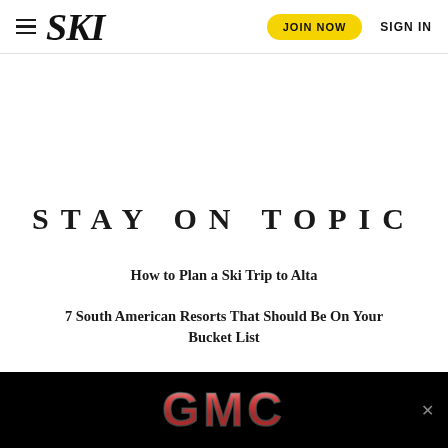SKI | JOIN NOW | SIGN IN
STAY ON TOPIC
How to Plan a Ski Trip to Alta
7 South American Resorts That Should Be On Your Bucket List
[Figure (logo): GMC logo advertisement banner at the bottom of the page]